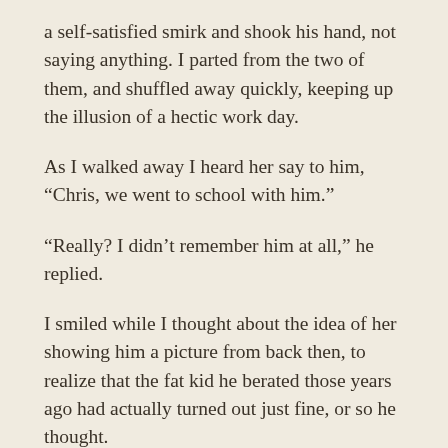a self-satisfied smirk and shook his hand, not saying anything. I parted from the two of them, and shuffled away quickly, keeping up the illusion of a hectic work day.
As I walked away I heard her say to him, “Chris, we went to school with him.”
“Really? I didn’t remember him at all,” he replied.
I smiled while I thought about the idea of her showing him a picture from back then, to realize that the fat kid he berated those years ago had actually turned out just fine, or so he thought.
By no means has losing weight made me a